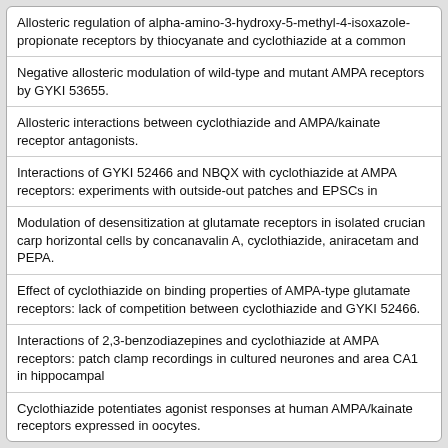Allosteric regulation of alpha-amino-3-hydroxy-5-methyl-4-isoxazole-propionate receptors by thiocyanate and cyclothiazide at a common
Negative allosteric modulation of wild-type and mutant AMPA receptors by GYKI 53655.
Allosteric interactions between cyclothiazide and AMPA/kainate receptor antagonists.
Interactions of GYKI 52466 and NBQX with cyclothiazide at AMPA receptors: experiments with outside-out patches and EPSCs in
Modulation of desensitization at glutamate receptors in isolated crucian carp horizontal cells by concanavalin A, cyclothiazide, aniracetam and PEPA.
Effect of cyclothiazide on binding properties of AMPA-type glutamate receptors: lack of competition between cyclothiazide and GYKI 52466.
Interactions of 2,3-benzodiazepines and cyclothiazide at AMPA receptors: patch clamp recordings in cultured neurones and area CA1 in hippocampal
Cyclothiazide potentiates agonist responses at human AMPA/kainate receptors expressed in oocytes.
Interactions of allosteric modulators of AMPA/kainate receptors on spreading depression in the chicken retina.
Non-N-methyl-D-aspartate receptor antagonism by 3-N-substituted 2,3-benzodiazepines: relationship to anticonvulsant activity.
More